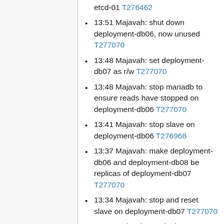etcd-01 T276462
13:51 Majavah: shut down deployment-db06, now unused T277070
13:48 Majavah: set deployment-db07 as r/w T277070
13:48 Majavah: stop mariadb to ensure reads have stopped on deployment-db06 T277070
13:41 Majavah: stop slave on deployment-db06 T276968
13:37 Majavah: make deployment-db06 and deployment-db08 be replicas of deployment-db07 T277070
13:34 Majavah: stop and reset slave on deployment-db07 T277070
13:32 Majavah: set deployment-db06 as read only T277070